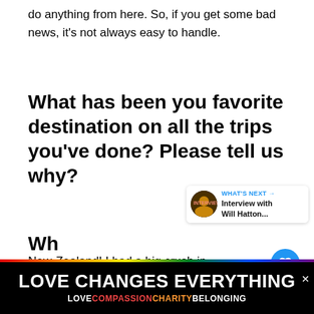do anything from here. So, if you get some bad news, it's not always easy to handle.
What has been you favorite destination on all the trips you've done? Please tell us why?
New-Zealand! I had a big crush in Western Canada as I love mountains. So, I was pleased by New-Zealand. You have the best coastal route. You add mountains, beaches, glaciers, fjords, volcanoes on top of that... Stunning. And...
[Figure (other): What's Next panel: thumbnail image with label 'WHAT'S NEXT →' and text 'Interview with Will Hatton...']
[Figure (other): Banner advertisement: 'LOVE CHANGES EVERYTHING' in white bold text on black background with rainbow strip, subtitle 'LOVE COMPASSION CHARITY BELONGING' in colored text. Close button (×) in top right.]
Wh...